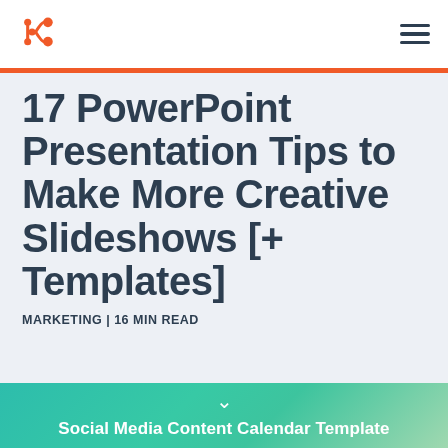HubSpot [logo] | hamburger menu
17 PowerPoint Presentation Tips to Make More Creative Slideshows [+ Templates]
MARKETING | 16 MIN READ
[Figure (infographic): CTA section with teal/green gradient background, chevron down arrow, text 'Social Media Content Calendar Template', and white button 'Get it now']